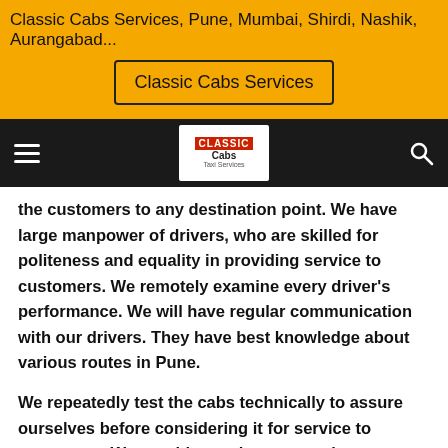Classic Cabs Services, Pune, Mumbai, Shirdi, Nashik, Aurangabad...
Classic Cabs Services
[Figure (logo): Classic Cabs logo in navigation bar with hamburger menu and search icon]
the customers to any destination point. We have large manpower of drivers, who are skilled for politeness and equality in providing service to customers. We remotely examine every driver's performance. We will have regular communication with our drivers. They have best knowledge about various routes in Pune.
We repeatedly test the cabs technically to assure ourselves before considering it for service to customers. We provide continuous service to customers. Since beginning, we have maintained the merits of sureness and pleasantness of service. We have gained many customers since we are devoted for their satisfactory journey.